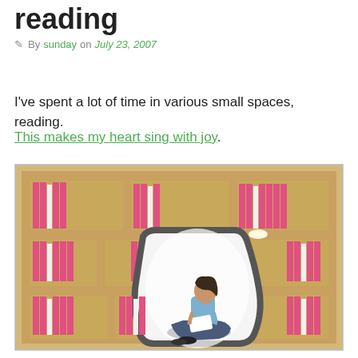reading
By sunday on July 23, 2007
I've spent a lot of time in various small spaces, reading.
This makes my heart sing with joy.
[Figure (photo): A bookshelf with pink books and a built-in curved reading nook where a woman sits reading, with a lamp above her.]